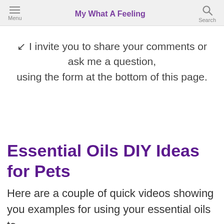My What A Feeling
↙ I invite you to share your comments or ask me a question, using the form at the bottom of this page.
Essential Oils DIY Ideas for Pets
Here are a couple of quick videos showing you examples for using your essential oils to